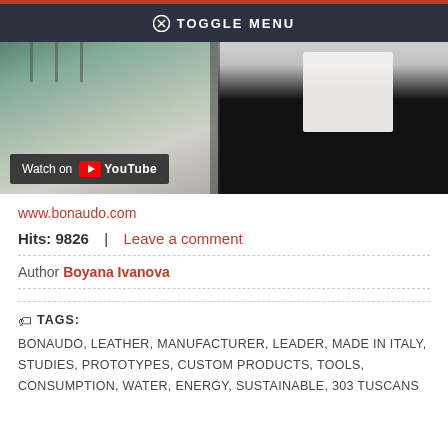TOGGLE MENU
[Figure (screenshot): Video thumbnail showing a clothing store with garments on hangers on the left and a person in a black blazer and white shirt on the right. A 'Watch on YouTube' overlay is visible at the bottom left.]
www.bonaudo.com
Hits: 9826  |  Leave a comment
Author Boyana Ivanova
TAGS:   BONAUDO, LEATHER, MANUFACTURER, LEADER, MADE IN ITALY, STUDIES, PROTOTYPES, CUSTOM PRODUCTS, TOOLS, CONSUMPTION, WATER, ENERGY, SUSTAINABLE, 303 TUSCANS